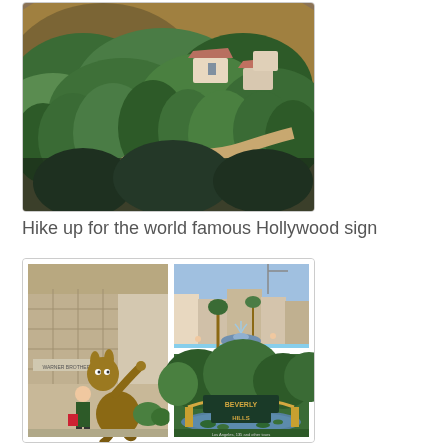[Figure (photo): Aerial/elevated view of Hollywood Hills with houses and lush green trees on hillside, featuring Spanish-style architecture visible through dense vegetation]
Hike up for the world famous Hollywood sign
[Figure (photo): Collage of four photos: left shows person posing with large Wile E. Coyote bronze statue at Warner Bros studio; top right shows outdoor shopping area with fountain and palm trees; bottom right shows Beverly Hills sign with pond and lily pads in foreground]